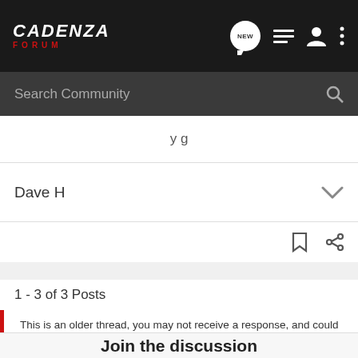CADENZA FORUM
Search Community
y g
Dave H
1 - 3 of 3 Posts
This is an older thread, you may not receive a response, and could be reviving an old thread. Please consider creating a new thread.
Join the discussion